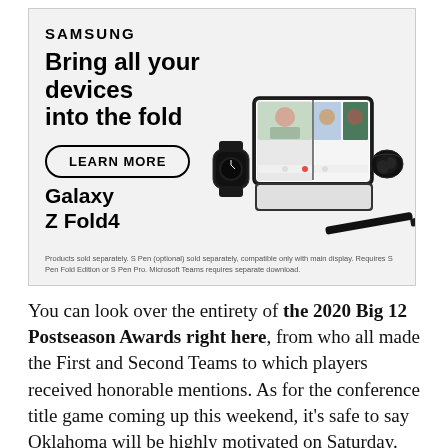[Figure (advertisement): Samsung advertisement for Galaxy Z Fold4. Shows Samsung logo, headline 'Bring all your devices into the fold', a 'LEARN MORE' button with rounded border, product name 'Galaxy Z Fold4', product images of a smartwatch, foldable phone, and earbuds, and a disclaimer text at the bottom.]
You can look over the entirety of the 2020 Big 12 Postseason Awards right here, from who all made the First and Second Teams to which players received honorable mentions. As for the conference title game coming up this weekend, it's safe to say Oklahoma will be highly motivated on Saturday. Bring your popcorn,